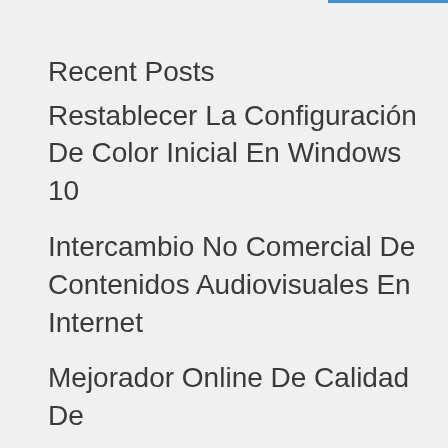Recent Posts
Restablecer La Configuración De Color Inicial En Windows 10
Intercambio No Comercial De Contenidos Audiovisuales En Internet
Mejorador Online De Calidad De